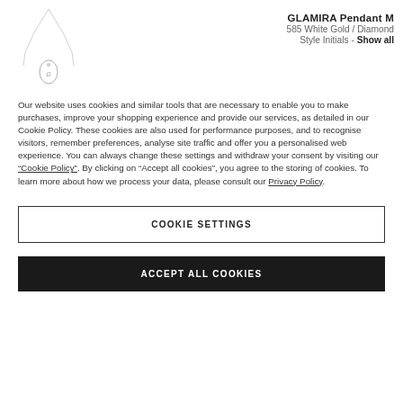[Figure (photo): A delicate pendant necklace with a thin chain and a small initial-style diamond pendant, shown on a white background.]
GLAMIRA Pendant M
585 White Gold / Diamond
Style Initials - Show all
Our website uses cookies and similar tools that are necessary to enable you to make purchases, improve your shopping experience and provide our services, as detailed in our Cookie Policy. These cookies are also used for performance purposes, and to recognise visitors, remember preferences, analyse site traffic and offer you a personalised web experience. You can always change these settings and withdraw your consent by visiting our "Cookie Policy". By clicking on "Accept all cookies", you agree to the storing of cookies. To learn more about how we process your data, please consult our Privacy Policy.
COOKIE SETTINGS
ACCEPT ALL COOKIES